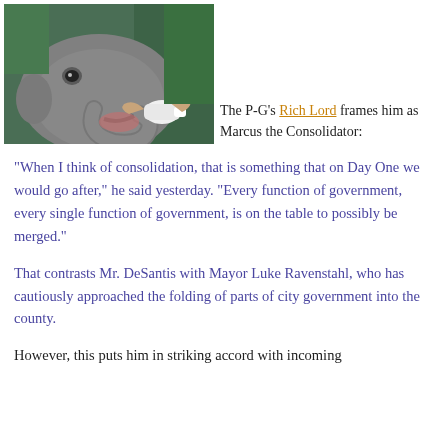[Figure (photo): A baby elephant being bottle-fed by people in green shirts; close-up of the elephant's face and trunk with a white bottle]
The P-G's Rich Lord frames him as Marcus the Consolidator:
“When I think of consolidation, that is something that on Day One we would go after,” he said yesterday. “Every function of government, every single function of government, is on the table to possibly be merged.”
That contrasts Mr. DeSantis with Mayor Luke Ravenstahl, who has cautiously approached the folding of parts of city government into the county.
However, this puts him in striking accord with incoming